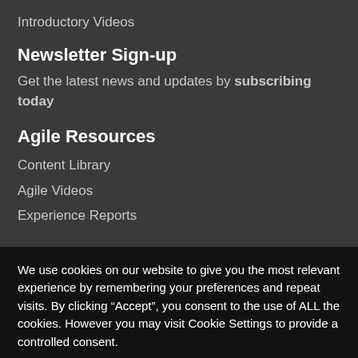Introductory Videos
Newsletter Sign-up
Get the latest news and updates by subscribing today
Agile Resources
Content Library
Agile Videos
Experience Reports
We use cookies on our website to give you the most relevant experience by remembering your preferences and repeat visits. By clicking “Accept”, you consent to the use of ALL the cookies. However you may visit Cookie Settings to provide a controlled consent.
Cookie settings
ACCEPT